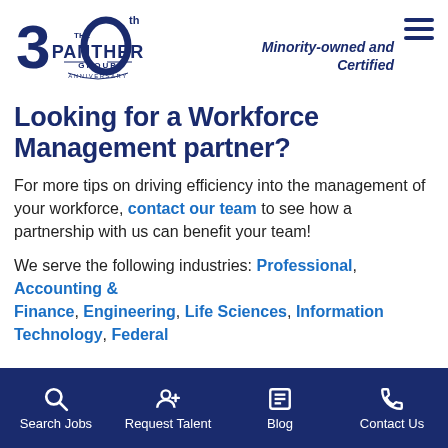[Figure (logo): The Panther Group 30th Anniversary logo in navy blue]
Minority-owned and Certified
Looking for a Workforce Management partner?
For more tips on driving efficiency into the management of your workforce, contact our team to see how a partnership with us can benefit your team!
We serve the following industries: Professional, Accounting & Finance, Engineering, Life Sciences, Information Technology, Federal
Search Jobs  Request Talent  Blog  Contact Us